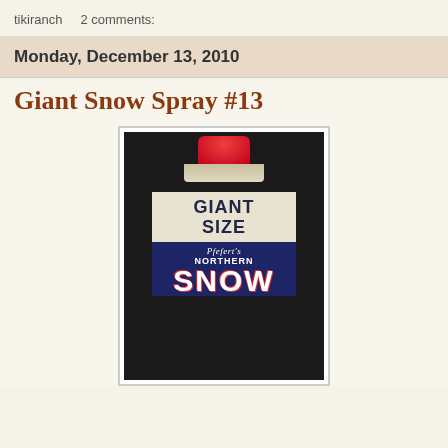tikiranch    2 comments:
Monday, December 13, 2010
Giant Snow Spray #13
[Figure (photo): A vintage Giant Size Pfefert's Northern Snow spray can with a red cap, white upper label reading GIANT SIZE, and dark blue lower label reading Pfeferts NORTHERN SNOW with a Santa Claus and Christmas trees illustration at the bottom.]